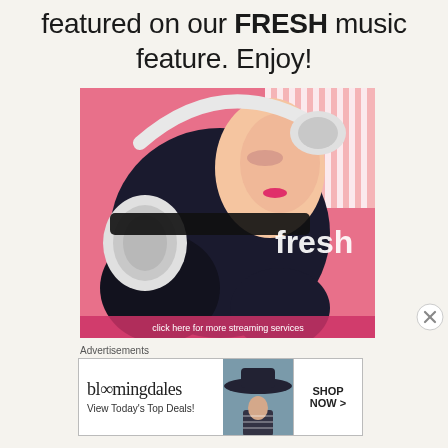featured on our FRESH music feature. Enjoy!
[Figure (illustration): A young woman with long dark hair wearing white headphones, lying back on a pink background. A striped shirt is visible. White text in the lower right reads 'fresh'. Bottom text partially visible: 'click here for more streaming services'.]
Advertisements
[Figure (other): Bloomingdale's advertisement banner showing the bloomingdales logo, 'View Today's Top Deals!' text, an image of a woman in a wide-brim hat, and a 'SHOP NOW >' button.]